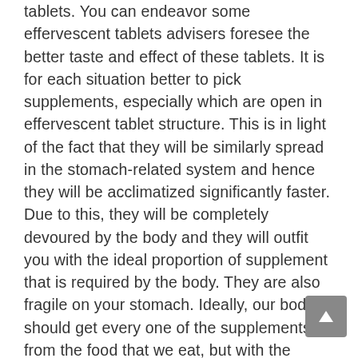tablets. You can endeavor some effervescent tablets advisers foresee the better taste and effect of these tablets. It is for each situation better to pick supplements, especially which are open in effervescent tablet structure. This is in light of the fact that they will be similarly spread in the stomach-related system and hence they will be acclimatized significantly faster. Due to this, they will be completely devoured by the body and they will outfit you with the ideal proportion of supplement that is required by the body. They are also fragile on your stomach. Ideally, our body should get every one of the supplements from the food that we eat, but with the current day and age, it is past the domain of the creative mind. Because of hot lifestyles and moreover the inferior quality of food sources that we get in the market, it is difficult to devour the ideal